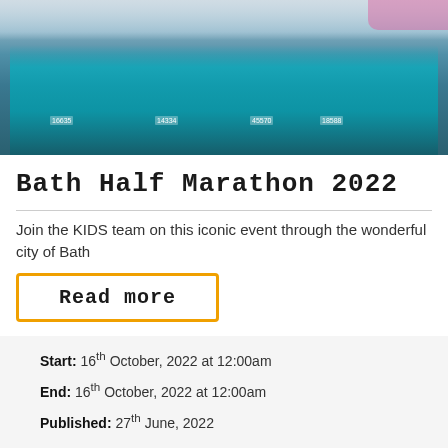[Figure (photo): Group photo of runners in teal KIDS charity vests with race numbers (16635, 14334, 45570, 16661, 18588) posing before the Bath Half Marathon]
Bath Half Marathon 2022
Join the KIDS team on this iconic event through the wonderful city of Bath
Read more
Start: 16th October, 2022 at 12:00am
End: 16th October, 2022 at 12:00am
Published: 27th June, 2022